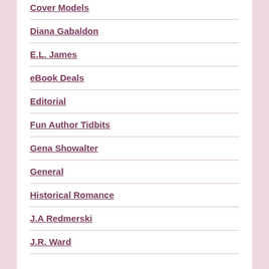Cover Models
Diana Gabaldon
E.L. James
eBook Deals
Editorial
Fun Author Tidbits
Gena Showalter
General
Historical Romance
J.A Redmerski
J.R. Ward